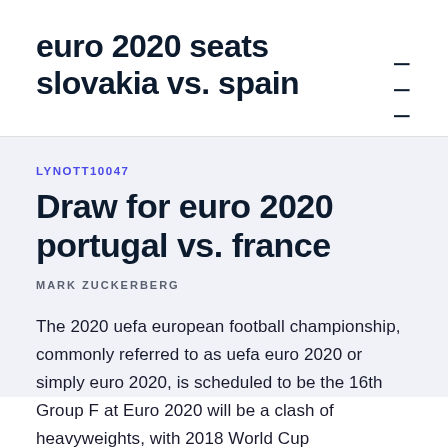euro 2020 seats slovakia vs. spain
LYNOTT10047
Draw for euro 2020 portugal vs. france
MARK ZUCKERBERG
The 2020 uefa european football championship, commonly referred to as uefa euro 2020 or simply euro 2020, is scheduled to be the 16th Group F at Euro 2020 will be a clash of heavyweights, with 2018 World Cup